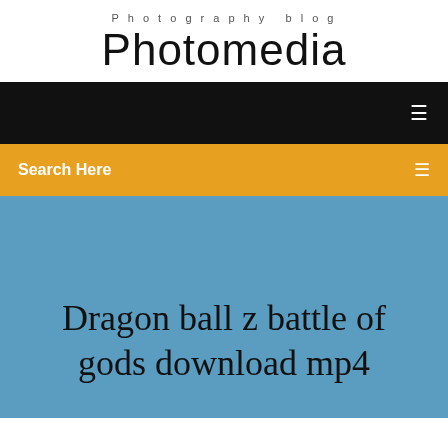Photography blog
Photomedia
[Figure (other): Black navigation bar with menu icon]
Search Here
Dragon ball z battle of gods download mp4